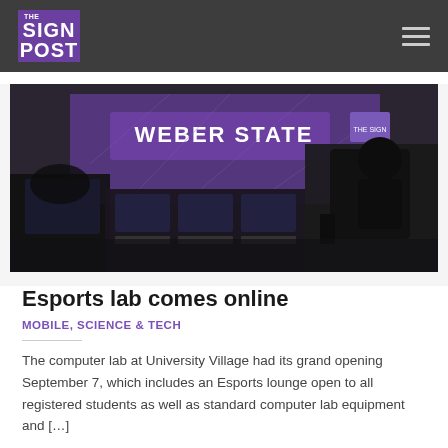THE SIGN POST
[Figure (photo): Indoor esports lab with gaming computers, chairs, and a purple Weber State University backdrop banner in a dimly lit room.]
Esports lab comes online
MOBILE, SCIENCE & TECH
The computer lab at University Village had its grand opening September 7, which includes an Esports lounge open to all registered students as well as standard computer lab equipment and [...]